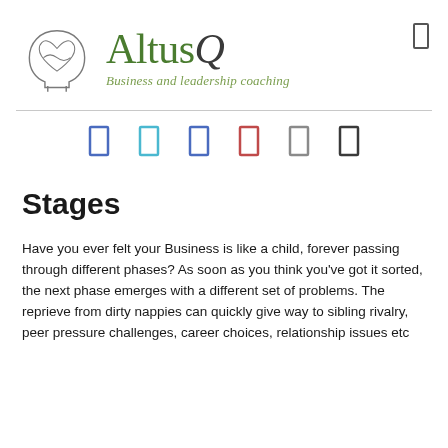[Figure (logo): AltusQ Business and leadership coaching logo with a head/heart line art icon]
[Figure (infographic): Six small social media / navigation icon rectangles in various colors (blue, cyan, blue, red, grey, dark)]
Stages
Have you ever felt your Business is like a child, forever passing through different phases? As soon as you think you've got it sorted, the next phase emerges with a different set of problems. The reprieve from dirty nappies can quickly give way to sibling rivalry, peer pressure challenges, career choices, relationship issues etc